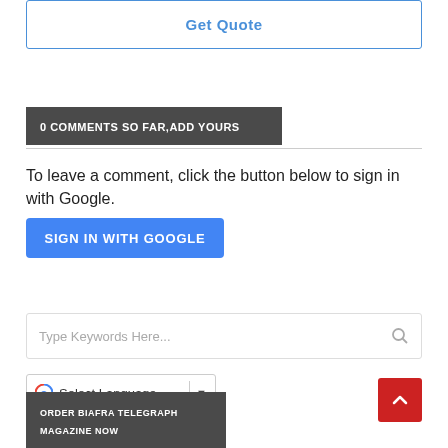[Figure (screenshot): Get quote button with blue border]
0 COMMENTS SO FAR,ADD YOURS
To leave a comment, click the button below to sign in with Google.
[Figure (screenshot): SIGN IN WITH GOOGLE blue button]
[Figure (screenshot): Search box with placeholder text Type Keywords Here...]
[Figure (screenshot): Google Translate Select Language dropdown]
[Figure (screenshot): Back to top red button with up arrow]
ORDER BIAFRA TELEGRAPH MAGAZINE NOW